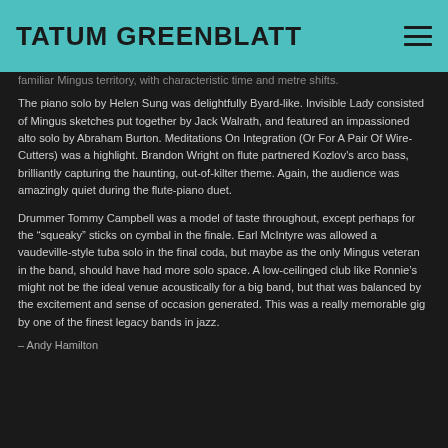TATUM GREENBLATT
familiar Mingus territory, with characteristic time and metre shifts. The piano solo by Helen Sung was delightfully Byard-like. Invisible Lady consisted of Mingus sketches put together by Jack Walrath, and featured an impassioned alto solo by Abraham Burton. Meditations On Integration (Or For A Pair Of Wire-Cutters) was a highlight. Brandon Wright on flute partnered Kozlov's arco bass, brilliantly capturing the haunting, out-of-kilter theme. Again, the audience was amazingly quiet during the flute-piano duet.
Drummer Tommy Campbell was a model of taste throughout, except perhaps for the “squeaky” sticks on cymbal in the finale. Earl McIntyre was allowed a vaudeville-style tuba solo in the final coda, but maybe as the only Mingus veteran in the band, should have had more solo space. A low-ceilinged club like Ronnie’s might not be the ideal venue acoustically for a big band, but that was balanced by the excitement and sense of occasion generated. This was a really memorable gig by one of the finest legacy bands in jazz.
– Andy Hamilton